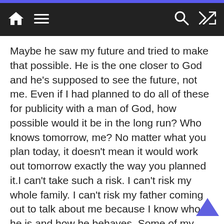Navigation bar with home, menu, search, and shuffle icons
Maybe he saw my future and tried to make that possible. He is the one closer to God and he's supposed to see the future, not me. Even if I had planned to do all of these for publicity with a man of God, how possible would it be in the long run? Who knows tomorrow, me? No matter what you plan today, it doesn't mean it would work out tomorrow exactly the way you planned it.I can't take such a risk. I can't risk my whole family. I can't risk my father coming out to talk about me because I know who he is and how he behaves. Some of my family members rejected me. My friends rejected me because of this issue. They are all ashamed of me. I won't risk all of that just to sell my music.